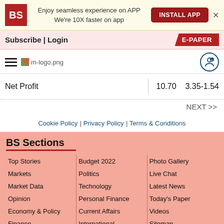[Figure (screenshot): App install banner with BS logo, text 'Enjoy seamless experience on APP We're 10X faster on app', INSTALL APP button, and X close button]
Subscribe | Login
E-PAPER
[Figure (logo): Hamburger menu icon, m-logo.png, and user notification icon]
|  |  |  |
| --- | --- | --- |
| Net Profit | 10.70 | 3.35-1.54 |
NEXT >>
Cookie Policy | Privacy Policy | Terms & Conditions
BS Sections
Top Stories
Markets
Market Data
Opinion
Economy & Policy
Finance
Budget 2022
Politics
Technology
Personal Finance
Current Affairs
International
Photo Gallery
Live Chat
Latest News
Today's Paper
Videos
Sitemap